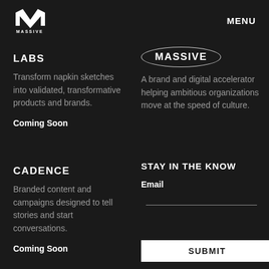[Figure (logo): Massive logo - stylized M mark with MASSIVE text below, white on dark background]
MENU
LABS
Transform napkin sketches into validated, transformative products and brands.
Coming Soon
MASSIVE
A brand and digital accelerator helping ambitious organizations move at the speed of culture.
CADENCE
Branded content and campaigns designed to tell stories and start conversations.
Coming Soon
STAY IN THE KNOW
Email
SUBMIT